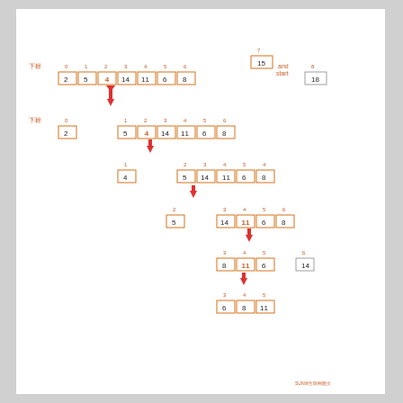[Figure (flowchart): Step-by-step diagram showing an array sorting/partitioning process. Multiple rows of orange-bordered boxes containing numbers, with indices above them, connected by red downward arrows. Labels '下标' (index) appear on left. Top shows a single box with 7/15 and a separate box with 8/18 labeled 'and start'. Each step shows progressive partitioning of an array.]